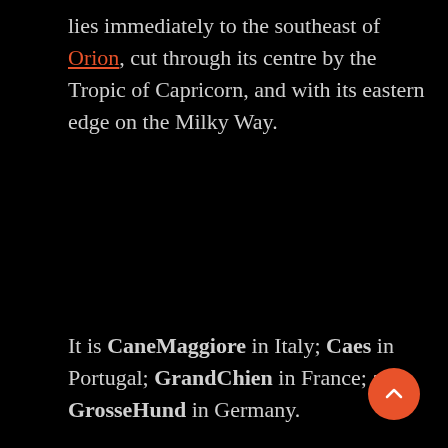lies immediately to the southeast of Orion, cut through its centre by the Tropic of Capricorn, and with its eastern edge on the Milky Way.
It is CaneMaggiore in Italy; Caes in Portugal; GrandChien in France; and GrosseHund in Germany.